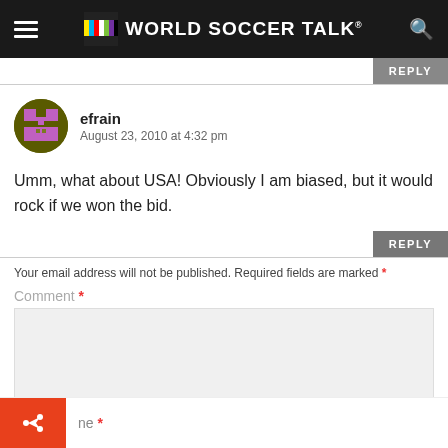WORLD SOCCER TALK
efrain
August 23, 2010 at 4:32 pm
Umm, what about USA! Obviously I am biased, but it would rock if we won the bid.
Your email address will not be published. Required fields are marked *
Comment *
Name *